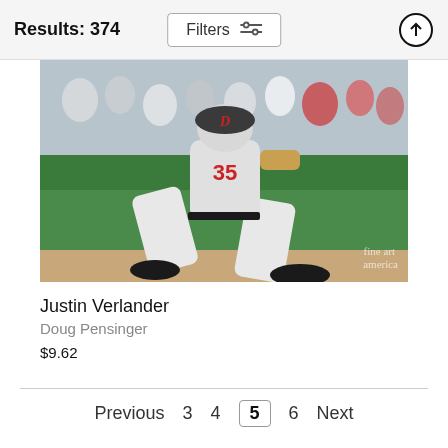Results: 374
[Figure (photo): Baseball pitcher in Detroit Tigers uniform #35 (Justin Verlander) in mid-pitch stance on the pitcher's mound, crowd visible in background. Fine Art America watermark in bottom right.]
Justin Verlander
Doug Pensinger
$9.62
Previous  3  4  5  6  Next